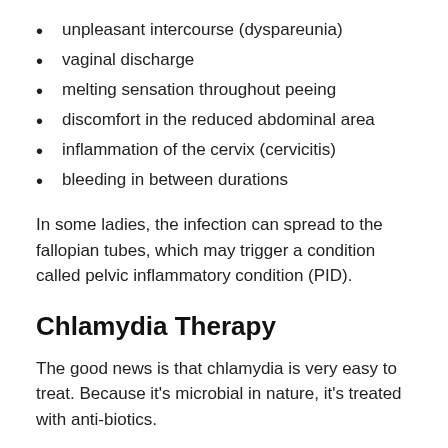unpleasant intercourse (dyspareunia)
vaginal discharge
melting sensation throughout peeing
discomfort in the reduced abdominal area
inflammation of the cervix (cervicitis)
bleeding in between durations
In some ladies, the infection can spread to the fallopian tubes, which may trigger a condition called pelvic inflammatory condition (PID).
Chlamydia Therapy
The good news is that chlamydia is very easy to treat. Because it's microbial in nature, it's treated with anti-biotics.
Azithromycin is an antibiotic normally